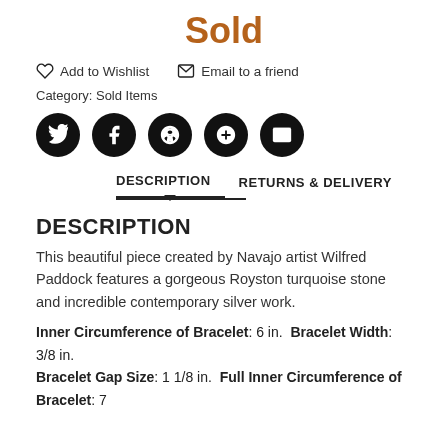Sold
Add to Wishlist   Email to a friend
Category: Sold Items
[Figure (other): Social share icons: Twitter, Facebook, Pinterest, Google+, Email]
DESCRIPTION   RETURNS & DELIVERY
DESCRIPTION
This beautiful piece created by Navajo artist Wilfred Paddock features a gorgeous Royston turquoise stone and incredible contemporary silver work.
Inner Circumference of Bracelet: 6 in. Bracelet Width: 3/8 in. Bracelet Gap Size: 1 1/8 in. Full Inner Circumference of Bracelet: 7